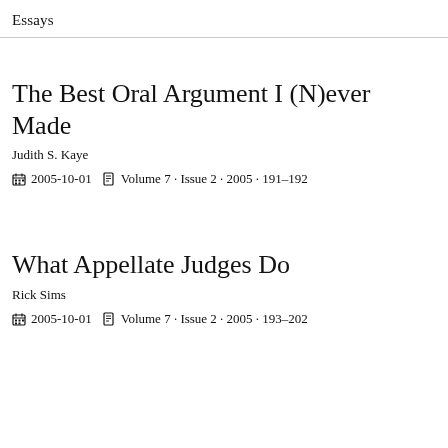Essays
The Best Oral Argument I (N)ever Made
Judith S. Kaye
2005-10-01  Volume 7 · Issue 2 · 2005 · 191–192
What Appellate Judges Do
Rick Sims
2005-10-01  Volume 7 · Issue 2 · 2005 · 193–202